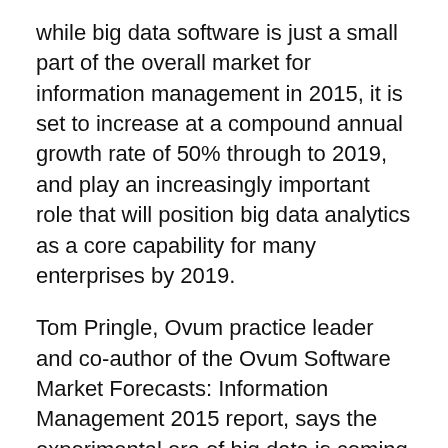while big data software is just a small part of the overall market for information management in 2015, it is set to increase at a compound annual growth rate of 50% through to 2019, and play an increasingly important role that will position big data analytics as a core capability for many enterprises by 2019.
Tom Pringle, Ovum practice leader and co-author of the Ovum Software Market Forecasts: Information Management 2015 report, says the experimental era of big data is coming to an end, with organisations formalising their use of big data technology to realise the business value they expect to find.
“Big data, as an open source technology, has been accessible without creating huge financial impact on the market,” Pringle says.
“Ovum believes that situation is changing, with